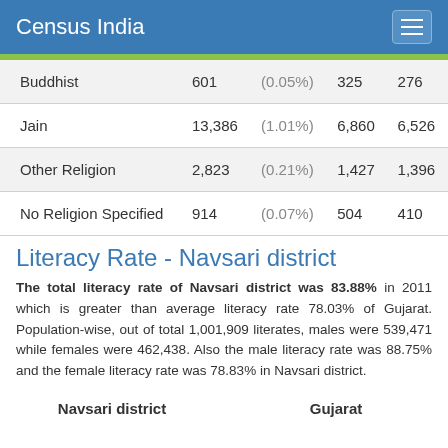Census India
| Religion | Count | Percent | Male | Female |
| --- | --- | --- | --- | --- |
| Buddhist | 601 | (0.05%) | 325 | 276 |
| Jain | 13,386 | (1.01%) | 6,860 | 6,526 |
| Other Religion | 2,823 | (0.21%) | 1,427 | 1,396 |
| No Religion Specified | 914 | (0.07%) | 504 | 410 |
Literacy Rate - Navsari district
The total literacy rate of Navsari district was 83.88% in 2011 which is greater than average literacy rate 78.03% of Gujarat. Population-wise, out of total 1,001,909 literates, males were 539,471 while females were 462,438. Also the male literacy rate was 88.75% and the female literacy rate was 78.83% in Navsari district.
| Navsari district | Gujarat |
| --- | --- |